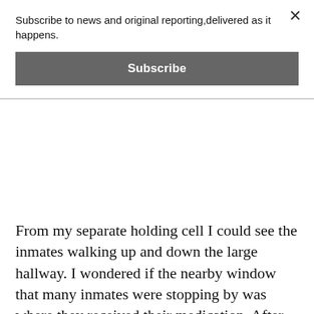Subscribe to news and original reporting,delivered as it happens.
Subscribe
From my separate holding cell I could see the inmates walking up and down the large hallway. I wondered if the nearby window that many inmates were stopping by was where they received their medication. After my recent experience on the bus I had developed a new found respect for medication to control these men. Although the escapee was not a large man he was defiantly a dangerous person. I came to realize that not all treats were obvious and